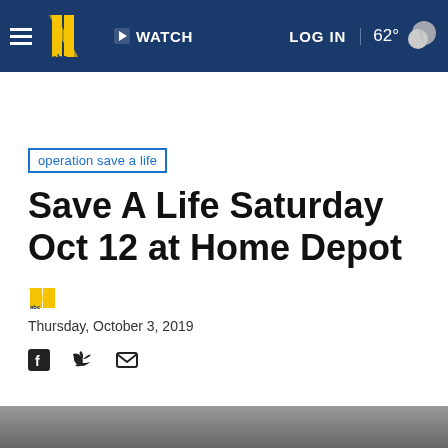WATCH | LOG IN | 62°
operation save a life
Save A Life Saturday Oct 12 at Home Depot
Thursday, October 3, 2019
[Figure (photo): Bottom portion of a news article page showing the top edge of a photo at the very bottom]